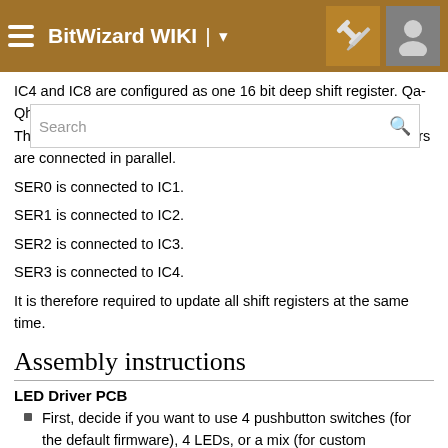BitWizard WIKI
IC4 and IC8 are configured as one 16 bit deep shift register. Qa-Qh are connected to IC4, and Qi-Qp are connected to IC8. The control pins (!OE, LATCH, !RESET, CLK) of all shift registers are connected in parallel.
SER0 is connected to IC1.
SER1 is connected to IC2.
SER2 is connected to IC3.
SER3 is connected to IC4.
It is therefore required to update all shift registers at the same time.
Assembly instructions
LED Driver PCB
First, decide if you want to use 4 pushbutton switches (for the default firmware), 4 LEDs, or a mix (for custom firmware).
SW1 and R65 or D7 and R71